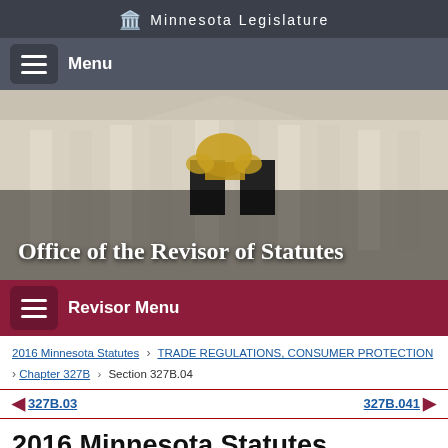Minnesota Legislature
[Figure (screenshot): Minnesota State Capitol building exterior with golden sculpture, hero banner image for the Office of the Revisor of Statutes website]
Office of the Revisor of Statutes
2016 Minnesota Statutes > TRADE REGULATIONS, CONSUMER PROTECTION > Chapter 327B > Section 327B.04
327B.03   327B.041
2016 Minnesota Statutes